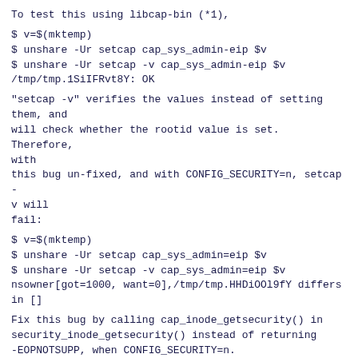To test this using libcap-bin (*1),
$ v=$(mktemp)
$ unshare -Ur setcap cap_sys_admin-eip $v
$ unshare -Ur setcap -v cap_sys_admin-eip $v
/tmp/tmp.1SiIFRvt8Y: OK
"setcap -v" verifies the values instead of setting them, and
will check whether the rootid value is set.  Therefore, with
this bug un-fixed, and with CONFIG_SECURITY=n, setcap -v will
fail:
$ v=$(mktemp)
$ unshare -Ur setcap cap_sys_admin=eip $v
$ unshare -Ur setcap -v cap_sys_admin=eip $v
nsowner[got=1000, want=0],/tmp/tmp.HHDiOOl9fY differs
in []
Fix this bug by calling cap_inode_getsecurity() in
security_inode_getsecurity() instead of returning
-EOPNOTSUPP, when CONFIG_SECURITY=n.
*1 - note, if libcap is too old for getcap to have the '-n'
option, then use verify-caps instead.
Signed-off-by: Serge Hallyn <serge@hallyn.com>